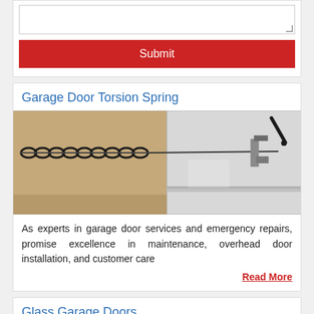[Figure (other): Textarea form field (partially visible at top of page)]
Submit
Garage Door Torsion Spring
[Figure (photo): Photo of a garage door torsion spring mechanism showing the coiled spring and mounting hardware]
As experts in garage door services and emergency repairs, promise excellence in maintenance, overhead door installation, and customer care
Read More
Glass Garage Doors